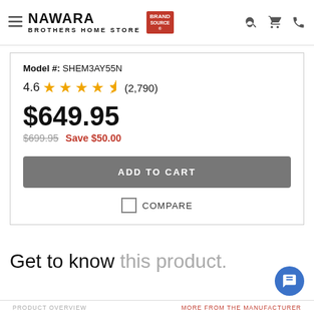[Figure (logo): Nawara Brothers Home Store with Brand Source badge logo, hamburger menu icon, search icon, cart icon, phone icon]
Model #: SHEM3AY55N
4.6 ★★★★½ (2,790)
$649.95
$699.95  Save $50.00
ADD TO CART
COMPARE
Get to know this product.
PRODUCT OVERVIEW    MORE FROM THE MANUFACTURER